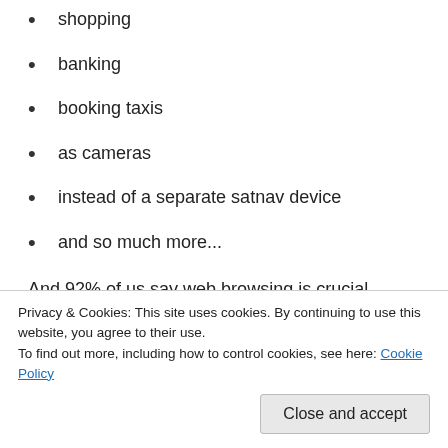shopping
banking
booking taxis
as cameras
instead of a separate satnav device
and so much more...
And 92% of us say web browsing is crucial.
I recently shared some jokes with friends about children opening books (not the e- versions) and trying to swipe to turn the pages – we laughed
Privacy & Cookies: This site uses cookies. By continuing to use this website, you agree to their use.
To find out more, including how to control cookies, see here: Cookie Policy
whatever is happening in the moment, right